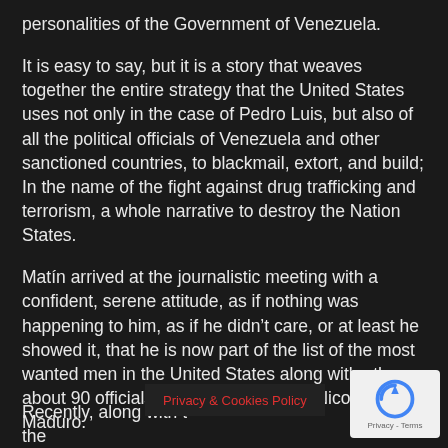personalities of the Government of Venezuela.
It is easy to say, but it is a story that weaves together the entire strategy that the United States uses not only in the case of Pedro Luis, but also of all the political officials of Venezuela and other sanctioned countries, to blackmail, extort, and build; In the name of the fight against drug trafficking and terrorism, a whole narrative to destroy the Nation States.
Matín arrived at the journalistic meeting with a confident, serene attitude, as if nothing was happening to him, as if he didn't care, or at least he showed it, that he is now part of the list of the most wanted men in the United States along with others about 90 officials, including President Nicolás Maduro.
Recently, along with t , the